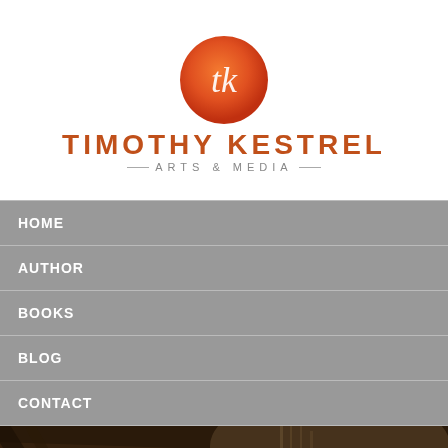[Figure (logo): Timothy Kestrel Arts & Media logo: orange/red gradient circle with 'tk' script letters in white, and text 'TIMOTHY KESTREL ARTS & MEDIA' below]
HOME
AUTHOR
BOOKS
BLOG
CONTACT
[Figure (photo): Dark sepia-toned photo of aged wood planks and pages, serving as hero background]
Blog
Stories that Take You for the Ride of Your Life